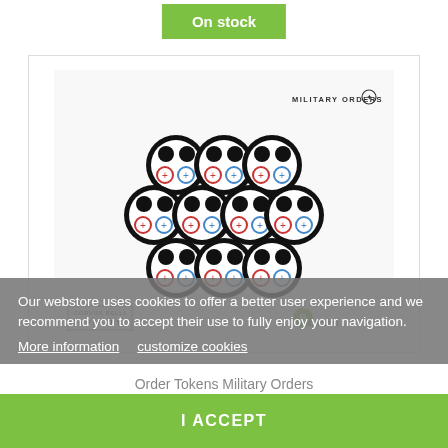On stock
[Figure (photo): Photo of Order Tokens Military Orders game tokens - round black and white tokens with colored cross and plus symbols, arranged in a group, with Military Orders and Infinity/Bandua logos visible]
Our webstore uses cookies to offer a better user experience and we recommend you to accept their use to fully enjoy your navigation.
More information   customize cookies
Order Tokens Military Orders
8.40 €
I ACCEPT